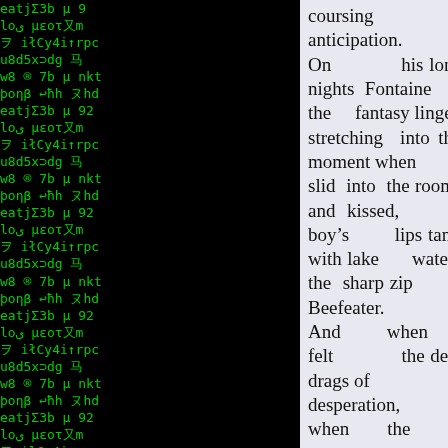[Figure (illustration): Matrix-style green characters on black background — left and right columns flanking a central text panel]
coursing with anticipation.
On his lonelier nights Fontaine let the fantasy linger, stretching into the moment when they slid into the room and kissed, the boy's lips tangy with lake water and the sharp zip of Beefeater.
And when he felt the deepest drags of desperation, when the